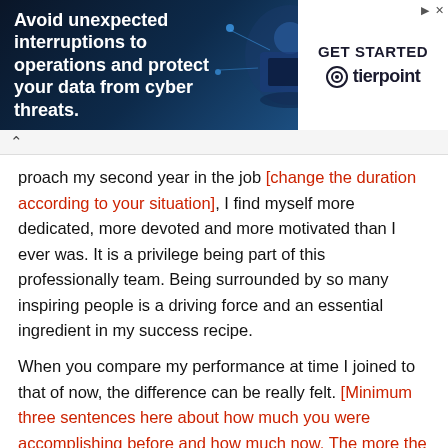[Figure (screenshot): Advertisement banner for Tierpoint with text 'Avoid unexpected interruptions to operations and protect your data from cyber threats.' with GET STARTED button and Tierpoint logo on white background, cybersecurity themed blue background with person at computer]
proach my second year in the job [change the duration according to your situation], I find myself more dedicated, more devoted and more motivated than I ever was. It is a privilege being part of this professionally team. Being surrounded by so many inspiring people is a driving force and an essential ingredient in my success recipe.
When you compare my performance at time I joined to that of now, the difference can be really felt. [Minimum three sentences here about how much you were accomplishing before and how much now. The more the better but don't make it boring]. I am confident that you agree that my performance is in an ever increasing rate. I am accomplishing a lot more that I used to.
In the light of what has been stated above, I would like to